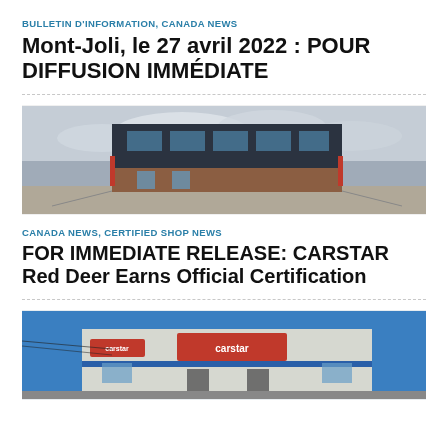BULLETIN D'INFORMATION, CANADA NEWS
Mont-Joli, le 27 avril 2022 : POUR DIFFUSION IMMÉDIATE
[Figure (photo): Exterior of a modern commercial building with dark cladding and brick facade, overcast sky]
CANADA NEWS, CERTIFIED SHOP NEWS
FOR IMMEDIATE RELEASE: CARSTAR Red Deer Earns Official Certification
[Figure (photo): Exterior of a CARSTAR auto body shop building with signage, blue accents, parked cars visible]